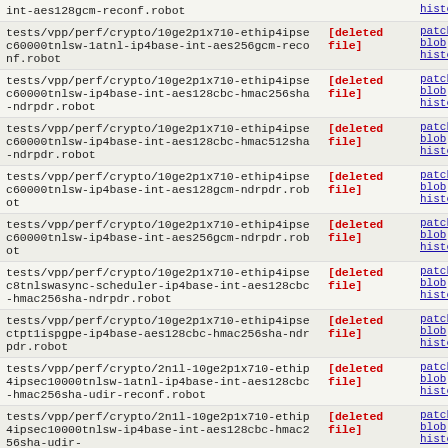| filepath | status | actions |
| --- | --- | --- |
| int-aes128gcm-reconf.robot | [deleted file] | patch | blob | history |
| tests/vpp/perf/crypto/10ge2p1x710-ethip4ipsec60000tnlsw-1atnl-ip4base-int-aes256gcm-reconf.robot | [deleted file] | patch | blob | history |
| tests/vpp/perf/crypto/10ge2p1x710-ethip4ipsec60000tnlsw-ip4base-int-aes128cbc-hmac256sha-ndrpdr.robot | [deleted file] | patch | blob | history |
| tests/vpp/perf/crypto/10ge2p1x710-ethip4ipsec60000tnlsw-ip4base-int-aes128cbc-hmac512sha-ndrpdr.robot | [deleted file] | patch | blob | history |
| tests/vpp/perf/crypto/10ge2p1x710-ethip4ipsec60000tnlsw-ip4base-int-aes128gcm-ndrpdr.robot | [deleted file] | patch | blob | history |
| tests/vpp/perf/crypto/10ge2p1x710-ethip4ipsec60000tnlsw-ip4base-int-aes256gcm-ndrpdr.robot | [deleted file] | patch | blob | history |
| tests/vpp/perf/crypto/10ge2p1x710-ethip4ipsec8tnlswasync-scheduler-ip4base-int-aes128cbc-hmac256sha-ndrpdr.robot | [deleted file] | patch | blob | history |
| tests/vpp/perf/crypto/10ge2p1x710-ethip4ipsectpt1ispgpe-ip4base-aes128cbc-hmac256sha-ndrpdr.robot | [deleted file] | patch | blob | history |
| tests/vpp/perf/crypto/2n1l-10ge2p1x710-ethip4ipsec10000tnlsw-1atnl-ip4base-int-aes128cbc-hmac256sha-udir-reconf.robot | [deleted file] | patch | blob | history |
| tests/vpp/perf/crypto/2n1l-10ge2p1x710-ethip4ipsec10000tnlsw-ip4base-int-aes128cbc-hmac256sha-udir- | [deleted file] | patch | blob | history |